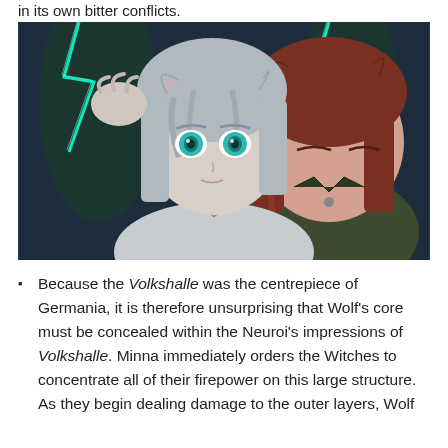in its own bitter conflicts.
[Figure (illustration): Anime-style illustration showing two female characters close together. The character in the foreground has silver/grey hair, teal eyes, animal ears, and is wearing a light-colored outfit with blue-green lightning effects in the background. The character in the background has long brown/auburn hair and is wearing a dark military-style uniform.]
Because the Volkshalle was the centrepiece of Germania, it is therefore unsurprising that Wolf's core must be concealed within the Neuroi's impressions of Volkshalle. Minna immediately orders the Witches to concentrate all of their firepower on this large structure. As they begin dealing damage to the outer layers, Wolf